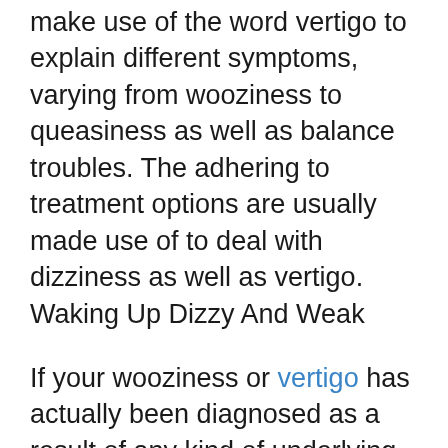make use of the word vertigo to explain different symptoms, varying from wooziness to queasiness as well as balance troubles. The adhering to treatment options are usually made use of to deal with dizziness as well as vertigo. Waking Up Dizzy And Weak
If your wooziness or vertigo has actually been diagnosed as a result of any kind of underlying medical condition, you should consult your medical professional quickly prior to beginning any kind of exercises. Even if the signs and symptoms you are experiencing are not due to a medical problem, you ought to still see your physician to guarantee that your signs are not a result of something else. Your doctor will likely advise you on what to do the